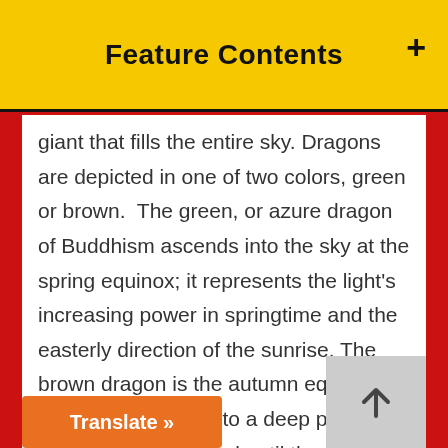Feature Contents
giant that fills the entire sky. Dragons are depicted in one of two colors, green or brown.  The green, or azure dragon of Buddhism ascends into the sky at the spring equinox; it represents the light's increasing power in springtime and the easterly direction of the sunrise. The brown dragon is the autumn equinox, when it descends into a deep pool, encasing itself in mud until the next spring, but its spirit is still with the practitioner bringing wealth and health. The pearls, or jewels clutched in the dragon represent wisdom